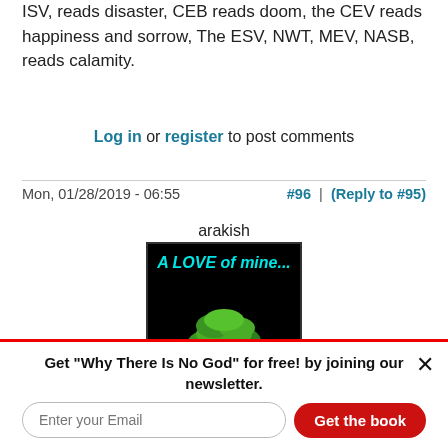ISV, reads disaster, CEB reads doom, the CEV reads happiness and sorrow, The ESV, NWT, MEV, NASB, reads calamity.
Log in or register to post comments
Mon, 01/28/2019 - 06:55
#96 | (Reply to #95)
arakish
[Figure (photo): Avatar image with black background showing a bonsai tree and cyan italic bold text reading 'A LOVE of mine...']
Get "Why There Is No God" for free! by joining our newsletter.